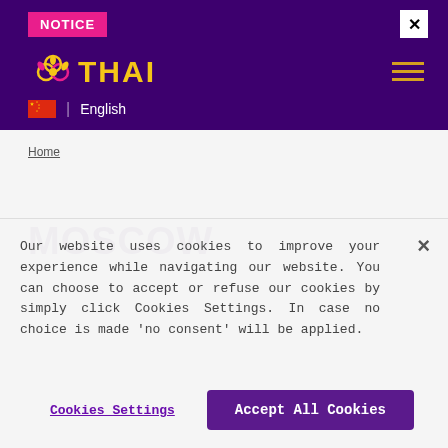NOTICE
[Figure (logo): Thai Airways logo with golden flower symbol and THAI text in gold on purple background]
English
Home
MOSCOW
Our website uses cookies to improve your experience while navigating our website. You can choose to accept or refuse our cookies by simply click Cookies Settings. In case no choice is made 'no consent' will be applied.
Cookies Settings
Accept All Cookies